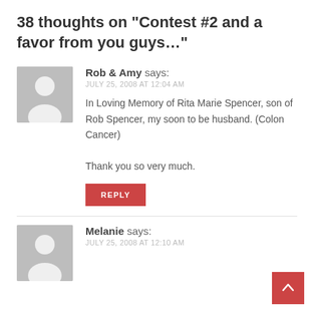38 thoughts on "Contest #2 and a favor from you guys…"
[Figure (illustration): Grey placeholder avatar icon for Rob & Amy comment]
Rob & Amy says:
JULY 25, 2008 AT 12:04 AM
In Loving Memory of Rita Marie Spencer, son of Rob Spencer, my soon to be husband. (Colon Cancer)

Thank you so very much.
REPLY
[Figure (illustration): Grey placeholder avatar icon for Melanie comment]
Melanie says:
JULY 25, 2008 AT 12:10 AM